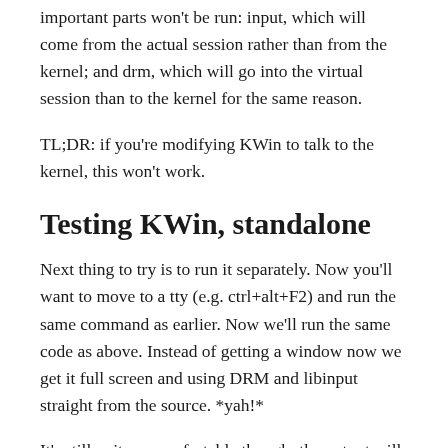important parts won't be run: input, which will come from the actual session rather than from the kernel; and drm, which will go into the virtual session than to the kernel for the same reason.
TL;DR: if you're modifying KWin to talk to the kernel, this won't work.
Testing KWin, standalone
Next thing to try is to run it separately. Now you'll want to move to a tty (e.g. ctrl+alt+F2) and run the same command as earlier. Now we'll run the same code as above. Instead of getting a window now we get it full screen and using DRM and libinput straight from the source. *yah!*
It's still quite uncomfortable though: the output will be going to the tty which we can't see because we have